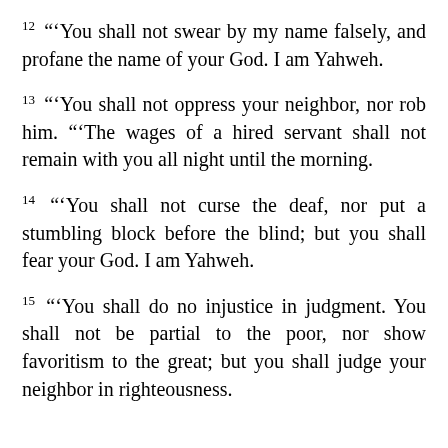12 “‘You shall not swear by my name falsely, and profane the name of your God. I am Yahweh.
13 “‘You shall not oppress your neighbor, nor rob him. “‘The wages of a hired servant shall not remain with you all night until the morning.
14 “‘You shall not curse the deaf, nor put a stumbling block before the blind; but you shall fear your God. I am Yahweh.
15 “‘You shall do no injustice in judgment. You shall not be partial to the poor, nor show favoritism to the great; but you shall judge your neighbor in righteousness.